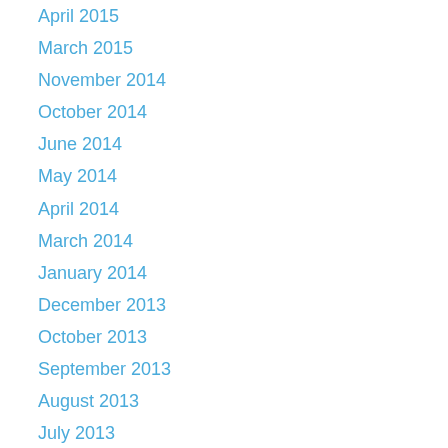April 2015
March 2015
November 2014
October 2014
June 2014
May 2014
April 2014
March 2014
January 2014
December 2013
October 2013
September 2013
August 2013
July 2013
June 2013
May 2013
April 2013
March 2013
January 2013
November 2012